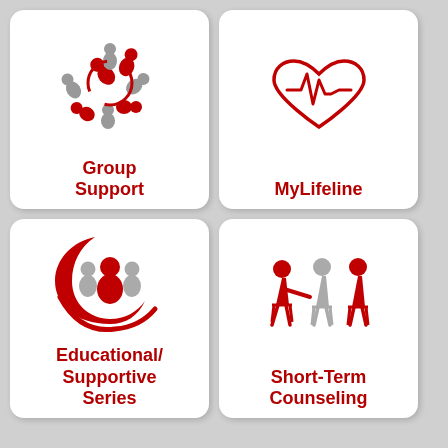[Figure (illustration): Icon of a circular group of people (red and gray figures) arranged in a circle, representing group support]
Group Support
[Figure (illustration): Icon of a heart with an EKG/lifeline pulse line through it, in red outline]
MyLifeline
[Figure (illustration): Icon of a crescent/caring hand shape in red holding gray and red figures of people, representing educational/supportive series]
Educational/ Supportive Series
[Figure (illustration): Icon of a counselor (red figure) talking to two seated figures (red and gray), representing short-term counseling]
Short-Term Counseling